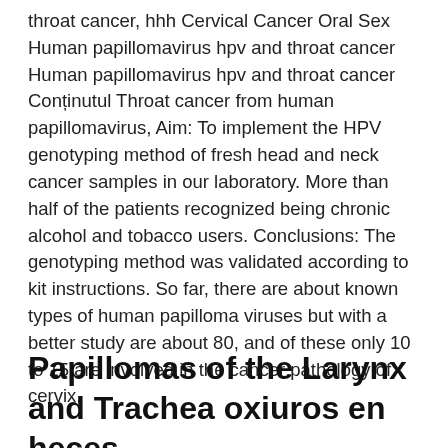throat cancer, hhh Cervical Cancer Oral Sex Human papillomavirus hpv and throat cancer Human papillomavirus hpv and throat cancer Conținutul Throat cancer from human papillomavirus, Aim: To implement the HPV genotyping method of fresh head and neck cancer samples in our laboratory. More than half of the patients recognized being chronic alcohol and tobacco users. Conclusions: The genotyping method was validated according to kit instructions. So far, there are about known types of human papilloma viruses but with a better study are about 80, and of these only 10 to 15 are involved in the cancer pathology of cervix.
Papillomas of the Larynx and Trachea oxiuros en heces